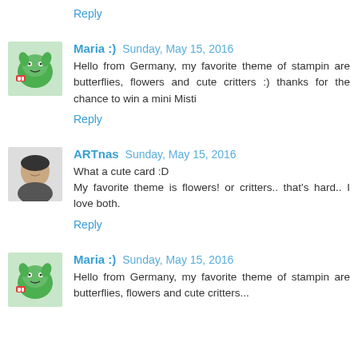are wonderful.
Reply
Maria :)  Sunday, May 15, 2016
Hello from Germany, my favorite theme of stampin are butterflies, flowers and cute critters :) thanks for the chance to win a mini Misti
Reply
ARTnas  Sunday, May 15, 2016
What a cute card :D
My favorite theme is flowers! or critters.. that's hard.. I love both.
Reply
Maria :)  Sunday, May 15, 2016
Hello from Germany, my favorite theme of stampin are butterflies, flowers and cute critters...